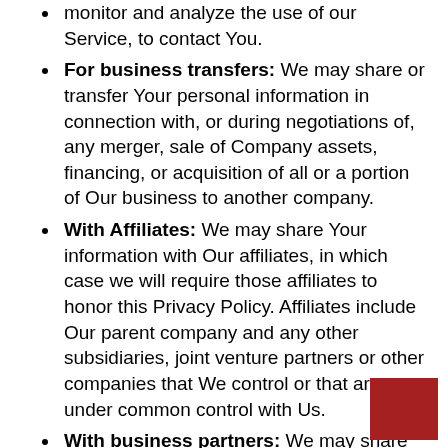monitor and analyze the use of our Service, to contact You.
For business transfers: We may share or transfer Your personal information in connection with, or during negotiations of, any merger, sale of Company assets, financing, or acquisition of all or a portion of Our business to another company.
With Affiliates: We may share Your information with Our affiliates, in which case we will require those affiliates to honor this Privacy Policy. Affiliates include Our parent company and any other subsidiaries, joint venture partners or other companies that We control or that are under common control with Us.
With business partners: We may share Your information with Our business partners to offer You certain products, services or promotions.
With other users: when You share personal information or otherwise interact in the public areas with other users, such information may be viewed by all users and may be publicly distributed outside.